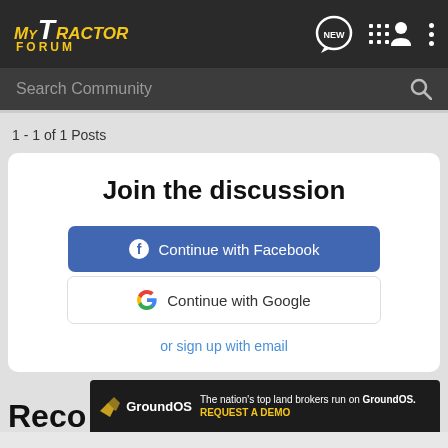MyTractor Forum — NEW, list, user, menu icons
Search Community
1 - 1 of 1 Posts
Join the discussion
Continue with Facebook
Continue with Google
or sign up with email
[Figure (screenshot): GroundOS advertisement banner: The nation's top land brokers run on GroundOS. REQUEST A DEMO]
Reco